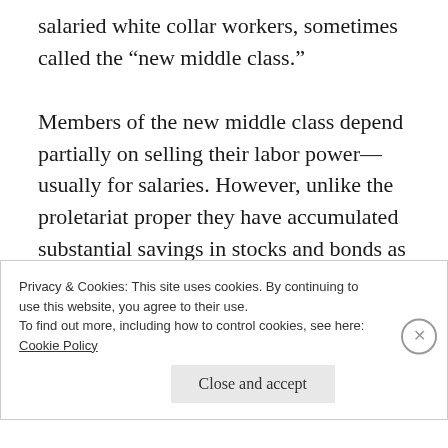salaried white collar workers, sometimes called the “new middle class.”

Members of the new middle class depend partially on selling their labor power—usually for salaries. However, unlike the proletariat proper they have accumulated substantial savings in stocks and bonds as well as equity in their homes—though a lot of the home equity in the imperialist countries
Privacy & Cookies: This site uses cookies. By continuing to use this website, you agree to their use.
To find out more, including how to control cookies, see here:
Cookie Policy